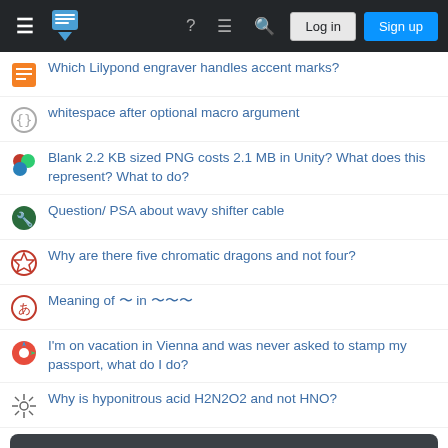Stack Exchange navigation bar with Log in and Sign up buttons
Which Lilypond engraver handles accent marks?
whitespace after optional macro argument
Blank 2.2 KB sized PNG costs 2.1 MB in Unity? What does this represent? What to do?
Question/ PSA about wavy shifter cable
Why are there five chromatic dragons and not four?
Meaning of 〜 in 〜〜〜
I'm on vacation in Vienna and was never asked to stamp my passport, what do I do?
Why is hyponitrous acid H2N2O2 and not HNO?
Your privacy
By clicking "Accept all cookies", you agree Stack Exchange can store cookies on your device and disclose information in accordance with our Cookie Policy.
Accept all cookies | Customize settings
Should I admit to accidentally cheating on an exam?